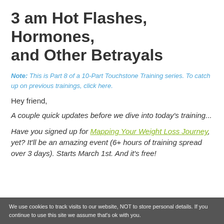3 am Hot Flashes, Hormones, and Other Betrayals
Note: This is Part 8 of a 10-Part Touchstone Training series. To catch up on previous trainings, click here.
Hey friend,
A couple quick updates before we dive into today's training...
Have you signed up for Mapping Your Weight Loss Journey, yet? It'll be an amazing event (6+ hours of training spread over 3 days). Starts March 1st. And it's free!
We use cookies to track visits to our website, NOT to store personal details. If you continue to use this site we assume that's ok with you.